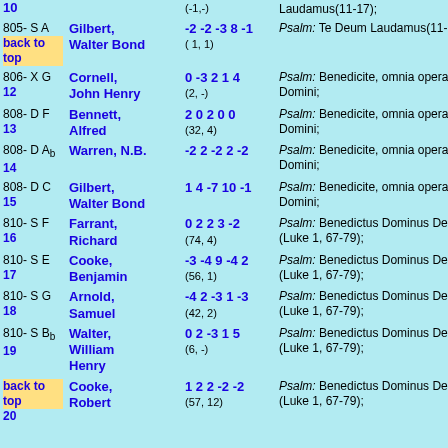| Number | Name | Score | Psalm |
| --- | --- | --- | --- |
| 10 |  | (-1,-) | Laudamus(11-17); |
| 805- S A / back to top | Gilbert, Walter Bond | -2 -2 -3 8 -1 (1,1) | Psalm: Te Deum Laudamus(11-17); |
| 806- X G / 12 | Cornell, John Henry | 0 -3 2 1 4 (2,-) | Psalm: Benedicite, omnia opera Domini; |
| 808- D F / 13 | Bennett, Alfred | 2 0 2 0 0 (32,4) | Psalm: Benedicite, omnia opera Domini; |
| 808- D Ab / 14 | Warren, N.B. | -2 2 -2 2 -2 | Psalm: Benedicite, omnia opera Domini; |
| 808- D C / 15 | Gilbert, Walter Bond | 1 4 -7 10 -1 | Psalm: Benedicite, omnia opera Domini; |
| 810- S F / 16 | Farrant, Richard | 0 2 2 3 -2 (74,4) | Psalm: Benedictus Dominus Deus (Luke 1, 67-79); |
| 810- S E / 17 | Cooke, Benjamin | -3 -4 9 -4 2 (56,1) | Psalm: Benedictus Dominus Deus (Luke 1, 67-79); |
| 810- S G / 18 | Arnold, Samuel | -4 2 -3 1 -3 (42,2) | Psalm: Benedictus Dominus Deus (Luke 1, 67-79); |
| 810- S Bb / 19 | Walter, William Henry | 0 2 -3 1 5 (6,-) | Psalm: Benedictus Dominus Deus (Luke 1, 67-79); |
| back to top / 20 | Cooke, Robert | 1 2 2 -2 -2 (57,12) | Psalm: Benedictus Dominus Deus (Luke 1, 67-79); |